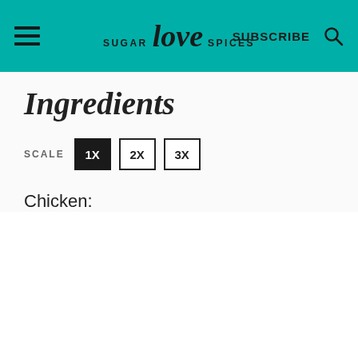SUGAR love SPICES | SUBSCRIBE
Ingredients
SCALE 1X 2X 3X
Chicken: